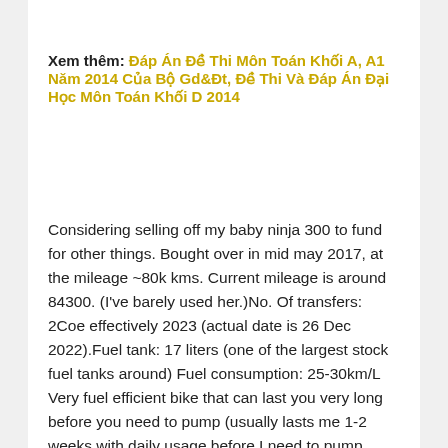Xem thêm: Đáp Án Đề Thi Môn Toán Khối A, A1 Năm 2014 Của Bộ Gd&Đt, Đề Thi Và Đáp Án Đại Học Môn Toán Khối D 2014
Considering selling off my baby ninja 300 to fund for other things. Bought over in mid may 2017, at the mileage ~80k kms. Current mileage is around 84300. (I've barely used her.)No. Of transfers: 2Coe effectively 2023 (actual date is 26 Dec 2022).Fuel tank: 17 liters (one of the largest stock fuel tanks around) Fuel consumption: 25-30km/L Very fuel efficient bike that can last you very long before you need to pump (usually lasts me 1-2 weeks with daily usage before I need to pump again) and also relatively low maintenance